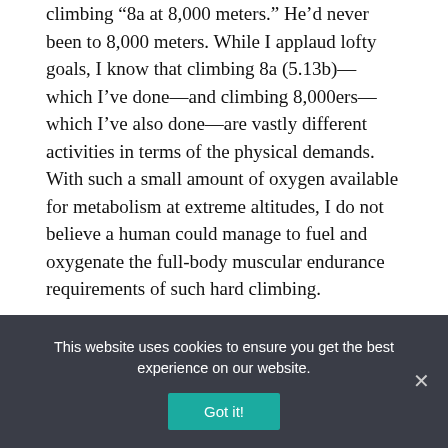climbing “8a at 8,000 meters.” He’d never been to 8,000 meters. While I applaud lofty goals, I know that climbing 8a (5.13b)—which I’ve done—and climbing 8,000ers—which I’ve also done—are vastly different activities in terms of the physical demands. With such a small amount of oxygen available for metabolism at extreme altitudes, I do not believe a human could manage to fuel and oxygenate the full-body muscular endurance requirements of such hard climbing.
Assuming you could feel your fingers and toes, which you would not.
Getting Started
Back to the workout. I try to complete this routine 2–3 times
This website uses cookies to ensure you get the best experience on our website.
Got it!